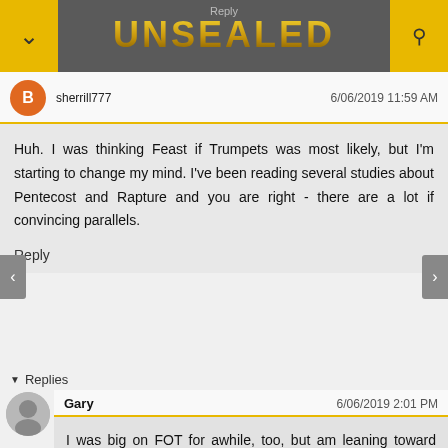UNSEALED
sherrill777   6/06/2019 11:59 AM
Huh. I was thinking Feast if Trumpets was most likely, but I'm starting to change my mind. I've been reading several studies about Pentecost and Rapture and you are right - there are a lot if convincing parallels.
Reply
Replies
Gary   6/06/2019 2:01 PM
I was big on FOT for awhile, too, but am leaning toward Pentecost and Shemini Atzeret these days.